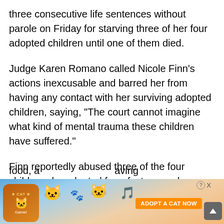three consecutive life sentences without parole on Friday for starving three of her four adopted children until one of them died.
Judge Karen Romano called Nicole Finn's actions inexcusable and barred her from having any contact with her surviving adopted children, saying, "The court cannot imagine what kind of mental trauma these children have suffered."
Finn reportedly abused three of the four children she adopted from foster care by pulling them out of public school and locking them away in her home, where she slowly starved them over time. At one point, the teenag... for food, a... saving
[Figure (screenshot): Mobile advertisement overlay for 'Cat Game' with orange 'ADOPT A CAT NOW' button, cartoon cats, and close/help buttons in top right corner]